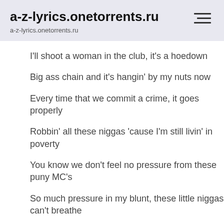a-z-lyrics.onetorrents.ru
a-z-lyrics.onetorrents.ru
I'll shoot a woman in the club, it's a hoedown
Big ass chain and it's hangin' by my nuts now
Every time that we commit a crime, it goes properly
Robbin' all these niggas 'cause I'm still livin' in poverty
You know we don't feel no pressure from these puny MC's
So much pressure in my blunt, these little niggas can't breathe
Tell 'em put your hands up, high up when I'm in it
Big pile of cash, I'm 'bout to dive in it
And the [?] to dark when I'm in it